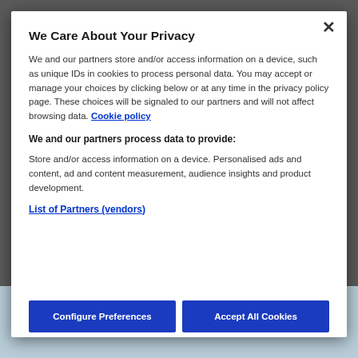We Care About Your Privacy
We and our partners store and/or access information on a device, such as unique IDs in cookies to process personal data. You may accept or manage your choices by clicking below or at any time in the privacy policy page. These choices will be signaled to our partners and will not affect browsing data. Cookie policy
We and our partners process data to provide:
Store and/or access information on a device. Personalised ads and content, ad and content measurement, audience insights and product development.
List of Partners (vendors)
Configure Preferences
Accept All Cookies